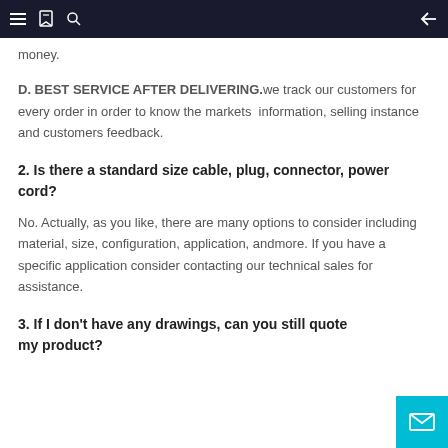[navigation bar with hamburger, bookmark, search, and back arrow icons]
money.
D. BEST SERVICE AFTER DELIVERING.we track our customers for every order in order to know the markets  information, selling instance and customers feedback.
2. Is there a standard size cable, plug, connector, power cord?
No. Actually, as you like, there are many options to consider including material, size, configuration, application, andmore. If you have a specific application consider contacting our technical sales for assistance.
3. If I don't have any drawings, can you still quote my product?